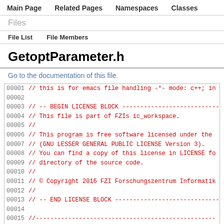Main Page   Related Pages   Namespaces   Classes
Files
File List   File Members
GetoptParameter.h
Go to the documentation of this file.
00001 // this is for emacs file handling -*- mode: c++; i
00002
00003 // -- BEGIN LICENSE BLOCK ----------------------------
00004 // This file is part of FZIs ic_workspace.
00005 //
00006 // This program is free software licensed under the
00007 // (GNU LESSER GENERAL PUBLIC LICENSE Version 3).
00008 // You can find a copy of this license in LICENSE fo
00009 // directory of the source code.
00010 //
00011 // © Copyright 2016 FZI Forschungszentrum Informatik
00012 //
00013 // -- END LICENSE BLOCK ----------------------------
00014
00015 //---------------------------------------------------
00024 //---------------------------------------------------
00025 #ifndef ICL_CORE_CONFG_GETOPT_PARAMETER_H_INCLUDED